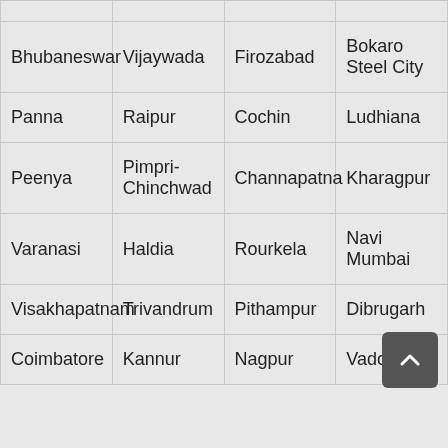| Bhubaneswar | Vijaywada | Firozabad | Bokaro Steel City |
| Panna | Raipur | Cochin | Ludhiana |
| Peenya | Pimpri-Chinchwad | Channapatna | Kharagpur |
| Varanasi | Haldia | Rourkela | Navi Mumbai |
| Visakhapatnam | Trivandrum | Pithampur | Dibrugarh |
| Coimbatore | Kannur | Nagpur | Vadodara |